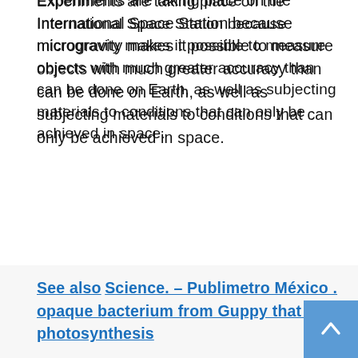Experiments are taking place on the International Space Station because microgravity makes it possible to measure objects with much greater accuracy than can be done on Earth, as well as subjecting materials to conditions that can only be achieved in space.
Also: (Virgin Galactic sends a Star TikTok researcher into space)
To continue this research, which is being carried out in cooperation between NASA and the Japan Aerospace Exploration Agency (Jaxa), new materials were sent aboard the resupply mission launched by Space X this week.
See also  Science. – Publimetro México . opaque bacterium from Guppy that uses photosynthesis